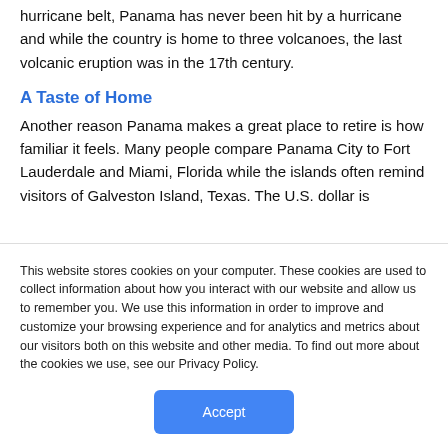hurricane belt, Panama has never been hit by a hurricane and while the country is home to three volcanoes, the last volcanic eruption was in the 17th century.
A Taste of Home
Another reason Panama makes a great place to retire is how familiar it feels. Many people compare Panama City to Fort Lauderdale and Miami, Florida while the islands often remind visitors of Galveston Island, Texas. The U.S. dollar is
This website stores cookies on your computer. These cookies are used to collect information about how you interact with our website and allow us to remember you. We use this information in order to improve and customize your browsing experience and for analytics and metrics about our visitors both on this website and other media. To find out more about the cookies we use, see our Privacy Policy.